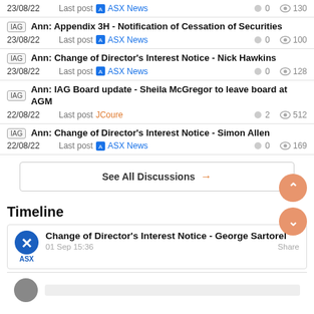23/08/22 Last post ASX News 0 130
IAG Ann: Appendix 3H - Notification of Cessation of Securities 23/08/22 Last post ASX News 0 100
IAG Ann: Change of Director's Interest Notice - Nick Hawkins 23/08/22 Last post ASX News 0 128
IAG Ann: IAG Board update - Sheila McGregor to leave board at AGM 22/08/22 Last post JCoure 2 512
IAG Ann: Change of Director's Interest Notice - Simon Allen 22/08/22 Last post ASX News 0 169
See All Discussions →
Timeline
Change of Director's Interest Notice - George Sartorel 01 Sep 15:36 Share